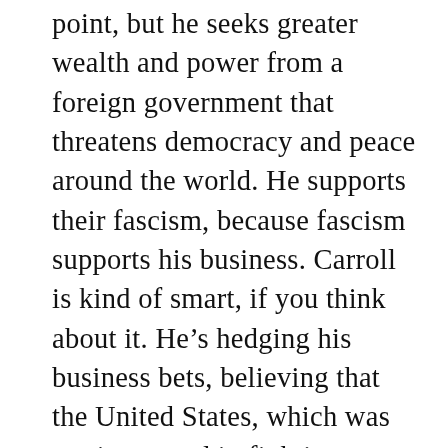point, but he seeks greater wealth and power from a foreign government that threatens democracy and peace around the world. He supports their fascism, because fascism supports his business. Carroll is kind of smart, if you think about it. He’s hedging his business bets, believing that the United States, which was not interested in fighting a war, would not prevail against the Blitzkrieg to come. He has foresight. Carroll is also very foolish. He’s not concerned by the things he’s done to maintain his power and control, or that it could be upended by a few with justice and fairness in mind. Abiding the law is for the little people, in his opinion.